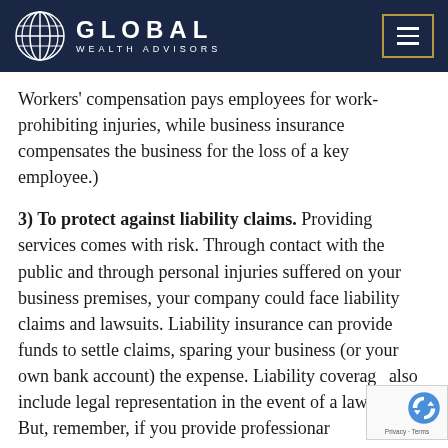GLOBAL WEALTH ADVISORS
Workers' compensation pays employees for work-prohibiting injuries, while business insurance compensates the business for the loss of a key employee.)
3) To protect against liability claims. Providing services comes with risk. Through contact with the public and through personal injuries suffered on your business premises, your company could face liability claims and lawsuits. Liability insurance can provide funds to settle claims, sparing your business (or your own bank account) the expense. Liability coverage also include legal representation in the event of a lawsuit. But, remember, if you provide professional